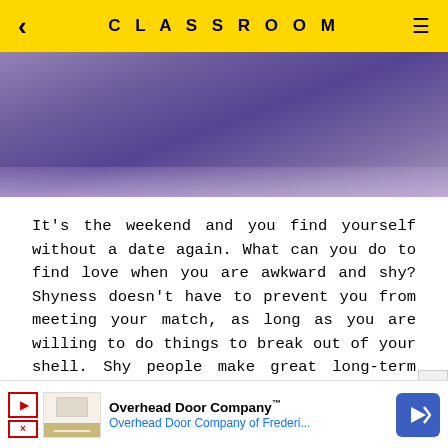< CLASSROOM ≡
[Figure (photo): Blurred purple-toned photo of a person, partially visible, used as article header image]
It's the weekend and you find yourself without a date again. What can you do to find love when you are awkward and shy? Shyness doesn't have to prevent you from meeting your match, as long as you are willing to do things to break out of your shell. Shy people make great long-term partners as they are less likely to leave a relationship, says John Daly, professor of communications at the University of Texas
[Figure (screenshot): Advertisement banner for Overhead Door Company with logo, text 'Overhead Door Company™ Overhead Door Company of Frederi...' and a blue navigation arrow icon]